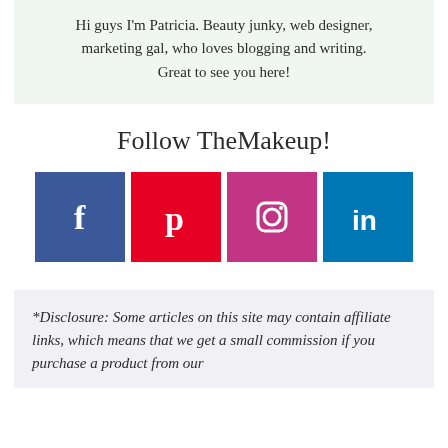Hi guys I'm Patricia. Beauty junky, web designer, marketing gal, who loves blogging and writing. Great to see you here!
Follow TheMakeup!
[Figure (infographic): Four social media icon buttons in a row: Facebook (blue), Pinterest (red), Instagram (magenta/purple), LinkedIn (blue)]
*Disclosure: Some articles on this site may contain affiliate links, which means that we get a small commission if you purchase a product from our